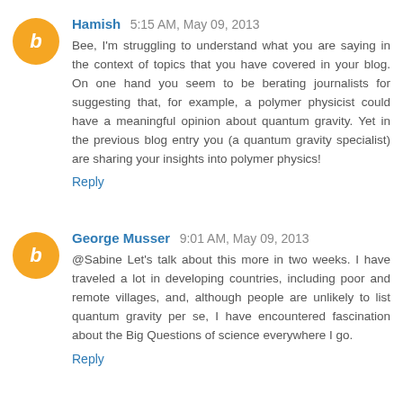Hamish 5:15 AM, May 09, 2013
Bee, I'm struggling to understand what you are saying in the context of topics that you have covered in your blog. On one hand you seem to be berating journalists for suggesting that, for example, a polymer physicist could have a meaningful opinion about quantum gravity. Yet in the previous blog entry you (a quantum gravity specialist) are sharing your insights into polymer physics!
Reply
George Musser 9:01 AM, May 09, 2013
@Sabine Let's talk about this more in two weeks. I have traveled a lot in developing countries, including poor and remote villages, and, although people are unlikely to list quantum gravity per se, I have encountered fascination about the Big Questions of science everywhere I go.
Reply